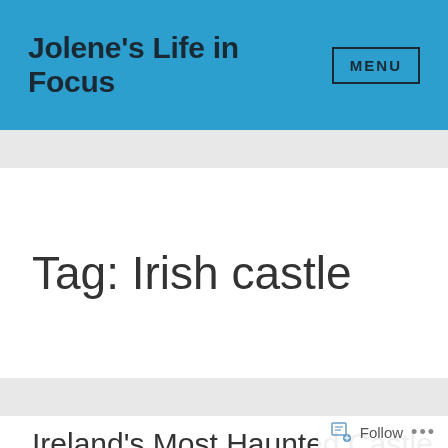Jolene's Life in Focus  MENU
Tag: Irish castle
Ireland's Most Haunted Castle
Follow ...